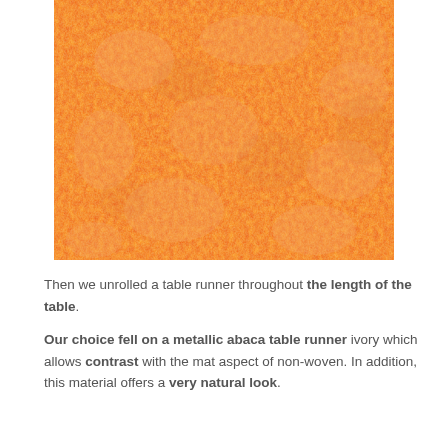[Figure (photo): Close-up texture photo of an orange/peach colored non-woven fabric material, showing mottled surface with subtle lighter patches.]
Then we unrolled a table runner throughout the length of the table.
Our choice fell on a metallic abaca table runner ivory which allows contrast with the mat aspect of non-woven. In addition, this material offers a very natural look.